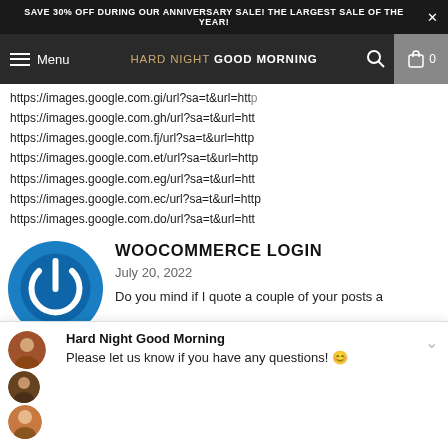SAVE 30% OFF DURING OUR ANNIVERSARY SALE! THE LARGEST SALE OF THE YEAR!
Menu | HARD NIGHT GOOD MORNING | 0
https://images.google.com.gi/url?sa=t&url=http
https://images.google.com.gh/url?sa=t&url=http
https://images.google.com.fj/url?sa=t&url=http
https://images.google.com.et/url?sa=t&url=http
https://images.google.com.eg/url?sa=t&url=http
https://images.google.com.ec/url?sa=t&url=http
https://images.google.com.do/url?sa=t&url=http
[Figure (logo): WooCommerce blue power button logo]
WOOCOMMERCE LOGIN
July 20, 2022
Do you mind if I quote a couple of your posts a
Hard Night Good Morning
Please let us know if you have any questions! 😊